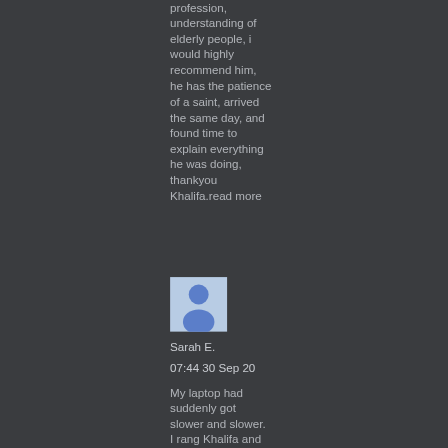profession, understanding of elderly people, i would highly recommend him, he has the patience of a saint, arrived the same day, and found time to explain everything he was doing, thankyou Khalifa.read more
[Figure (illustration): User avatar placeholder image showing a generic person silhouette in blue on a light blue background]
Sarah E.
07:44 30 Sep 20
My laptop had suddenly got slower and slower. I rang Khalifa and